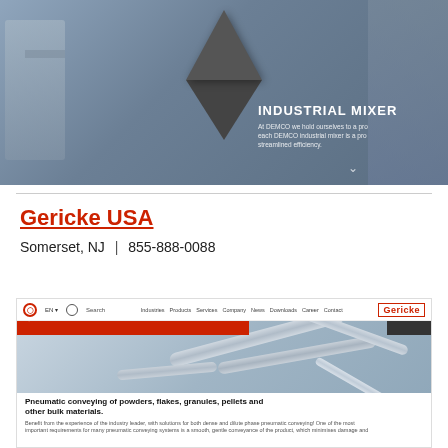[Figure (screenshot): Industrial mixer product page screenshot showing a conical/hopper-style industrial mixer with text overlay 'INDUSTRIAL MIXER' and description text about DEMCO industrial mixers]
Gericke USA
Somerset, NJ  |  855-888-0088
[Figure (screenshot): Gericke USA website screenshot showing navigation bar with Industries, Products, Services, Company, News, Downloads, Career, Contact links and Gericke logo. Main image shows stainless steel pneumatic conveying pipes. Red banner overlay reads 'PNEUMATIC CONVEYING' with Products label. Below shows text: 'Pneumatic conveying of powders, flakes, granules, pellets and other bulk materials.' with additional body text. TOP button visible bottom right.]